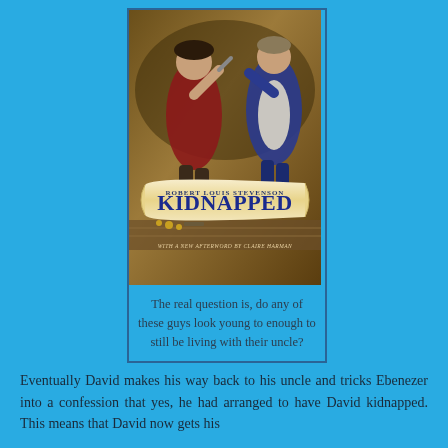[Figure (illustration): Book cover of 'Kidnapped' by Robert Louis Stevenson, with a new afterword by Claire Harman. The cover shows two figures in period costume appearing to struggle or fight, with the title on a scroll-like banner.]
The real question is, do any of these guys look young to enough to still be living with their uncle?
Eventually David makes his way back to his uncle and tricks Ebenezer into a confession that yes, he had arranged to have David kidnapped. This means that David now gets his